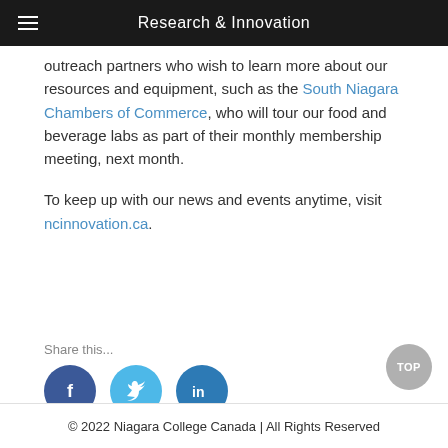Research & Innovation
outreach partners who wish to learn more about our resources and equipment, such as the South Niagara Chambers of Commerce, who will tour our food and beverage labs as part of their monthly membership meeting, next month.
To keep up with our news and events anytime, visit ncinnovation.ca.
Share this...
[Figure (illustration): Social media share icons: Facebook (dark blue circle with f), Twitter (light blue circle with bird), LinkedIn (medium blue circle with in)]
© 2022 Niagara College Canada | All Rights Reserved